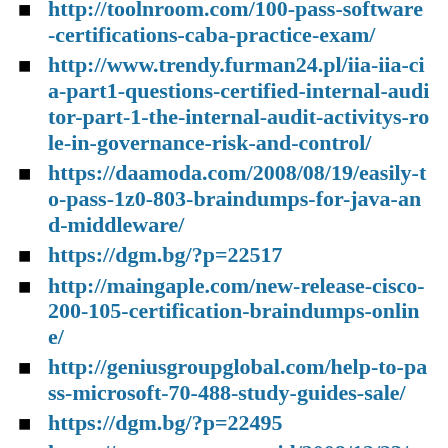http://toolnroom.com/100-pass-software-certifications-caba-practice-exam/
http://www.trendy.furman24.pl/iia-iia-cia-part1-questions-certified-internal-auditor-part-1-the-internal-audit-activitys-role-in-governance-risk-and-control/
https://daamoda.com/2008/08/19/easily-to-pass-1z0-803-braindumps-for-java-and-middleware/
https://dgm.bg/?p=22517
http://maingaple.com/new-release-cisco-200-105-certification-braindumps-online/
http://geniusgroupglobal.com/help-to-pass-microsoft-70-488-study-guides-sale/
https://dgm.bg/?p=22495
https://www.aroraputra.id/2008/12/23/microsoft-74-343-practice-questions-with